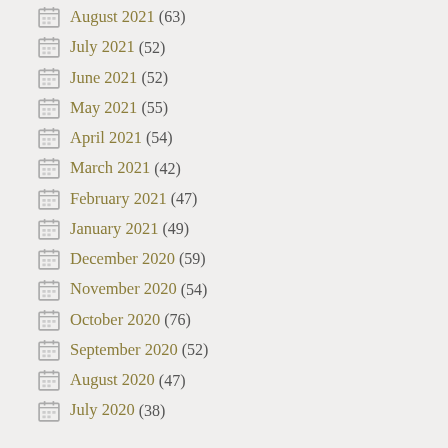August 2021 (63)
July 2021 (52)
June 2021 (52)
May 2021 (55)
April 2021 (54)
March 2021 (42)
February 2021 (47)
January 2021 (49)
December 2020 (59)
November 2020 (54)
October 2020 (76)
September 2020 (52)
August 2020 (47)
July 2020 (38)